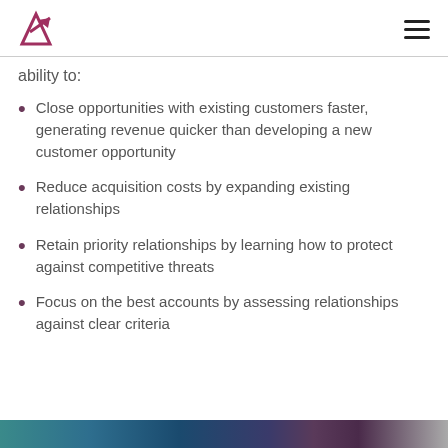ability to:
Close opportunities with existing customers faster, generating revenue quicker than developing a new customer opportunity
Reduce acquisition costs by expanding existing relationships
Retain priority relationships by learning how to protect against competitive threats
Focus on the best accounts by assessing relationships against clear criteria